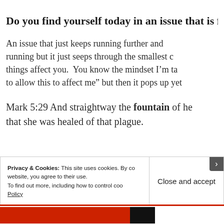Do you find yourself today in an issue that is fl
An issue that just keeps running further and running but it just seeps through the smallest c things affect you. You know the mindset I’m ta to allow this to affect me” but then it pops up yet
Mark 5:29 And straightway the fountain of he that she was healed of that plague.
Privacy & Cookies: This site uses cookies. By co website, you agree to their use.
To find out more, including how to control coo Policy
Close and accept